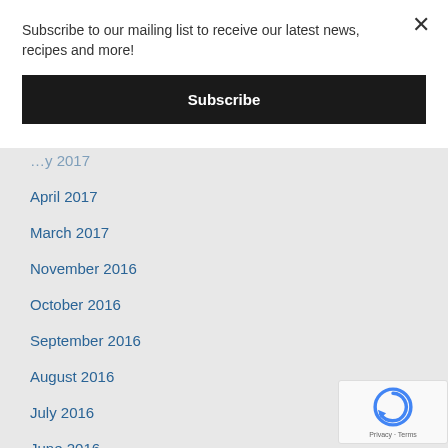Subscribe to our mailing list to receive our latest news, recipes and more!
Subscribe
April 2017
March 2017
November 2016
October 2016
September 2016
August 2016
July 2016
June 2016
May 2016
March 2016
February 2016